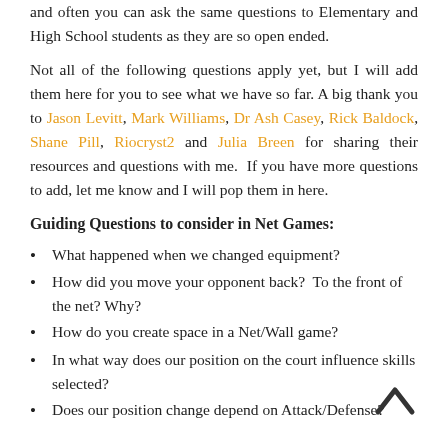and often you can ask the same questions to Elementary and High School students as they are so open ended.
Not all of the following questions apply yet, but I will add them here for you to see what we have so far. A big thank you to Jason Levitt, Mark Williams, Dr Ash Casey, Rick Baldock, Shane Pill, Riocryst2 and Julia Breen for sharing their resources and questions with me.  If you have more questions to add, let me know and I will pop them in here.
Guiding Questions to consider in Net Games:
What happened when we changed equipment?
How did you move your opponent back?  To the front of the net? Why?
How do you create space in a Net/Wall game?
In what way does our position on the court influence skills selected?
Does our position change depend on Attack/Defense?